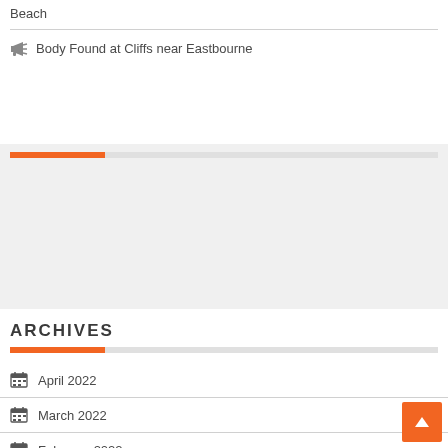Beach
Body Found at Cliffs near Eastbourne
[Figure (other): Gray widget/advertisement area with orange accent divider bar]
ARCHIVES
April 2022
March 2022
February 2022